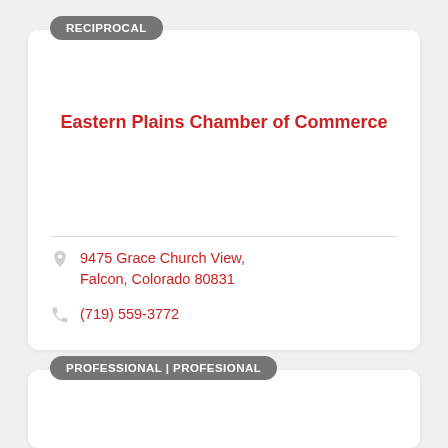RECIPROCAL
Eastern Plains Chamber of Commerce
9475 Grace Church View, Falcon, Colorado 80831
(719) 559-3772
PROFESSIONAL | PROFESIONAL